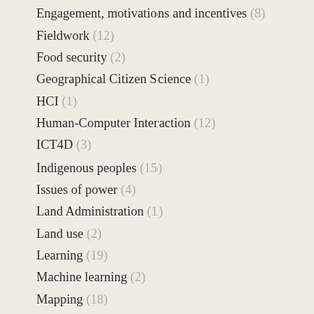Engagement, motivations and incentives (8)
Fieldwork (12)
Food security (2)
Geographical Citizen Science (1)
HCI (1)
Human-Computer Interaction (12)
ICT4D (3)
Indigenous peoples (15)
Issues of power (4)
Land Administration (1)
Land use (2)
Learning (19)
Machine learning (2)
Mapping (18)
motivations and incentives (4)
Open Science (5)
Participatory GIS (3)
Reflection on practice (6)